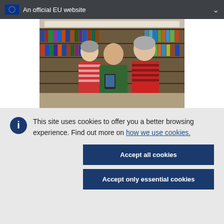An official EU website
[Figure (photo): Three people in a library — a young man holding a phone or book, flanked by two older women in red-striped tops, looking at bookshelves in the background.]
This site uses cookies to offer you a better browsing experience. Find out more on how we use cookies.
Accept all cookies
Accept only essential cookies